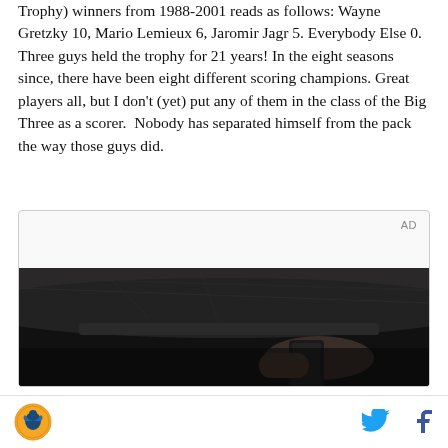Trophy) winners from 1988-2001 reads as follows: Wayne Gretzky 10, Mario Lemieux 6, Jaromir Jagr 5. Everybody Else 0. Three guys held the trophy for 21 years! In the eight seasons since, there have been eight different scoring champions. Great players all, but I don't (yet) put any of them in the class of the Big Three as a scorer.  Nobody has separated himself from the pack the way those guys did.
[Figure (photo): Advertisement placeholder with a dark photo showing a car interior with a hand holding a phone, with 'AD' label in the top right corner]
Site logo and social media icons (Twitter, Facebook)